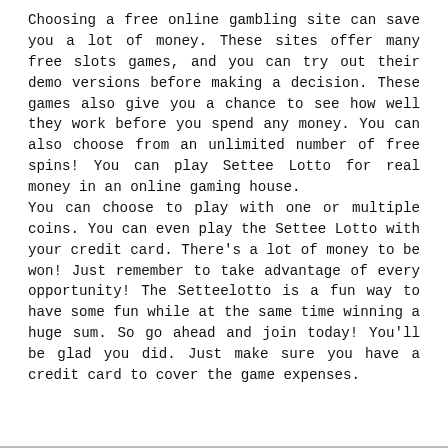Choosing a free online gambling site can save you a lot of money. These sites offer many free slots games, and you can try out their demo versions before making a decision. These games also give you a chance to see how well they work before you spend any money. You can also choose from an unlimited number of free spins! You can play Settee Lotto for real money in an online gaming house. You can choose to play with one or multiple coins. You can even play the Settee Lotto with your credit card. There's a lot of money to be won! Just remember to take advantage of every opportunity! The Setteelotto is a fun way to have some fun while at the same time winning a huge sum. So go ahead and join today! You'll be glad you did. Just make sure you have a credit card to cover the game expenses.